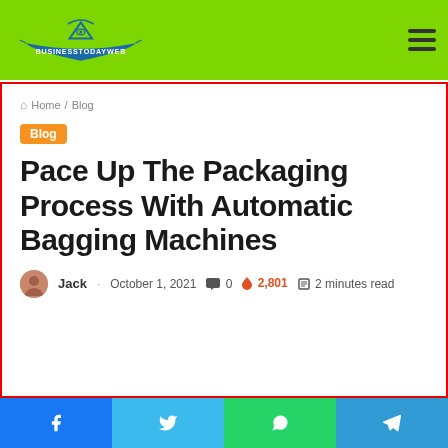BusinessTodayWeb — navigation header with logo and hamburger menu
Home / Blog
Blog
Pace Up The Packaging Process With Automatic Bagging Machines
Jack · October 1, 2021  0  2,801  2 minutes read
Social share buttons: Facebook, Twitter, WhatsApp, Telegram